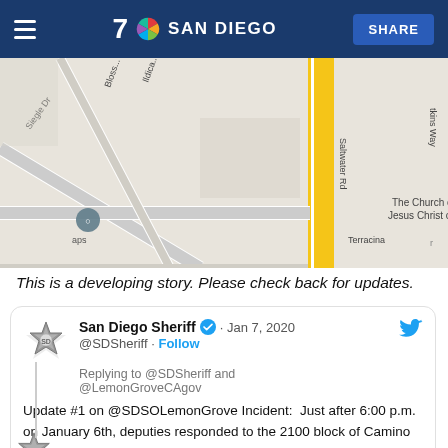7 NBC SAN DIEGO | SHARE
[Figure (map): Street map showing area around Camino de las Palmas, Lemon Grove, CA. Streets visible: Siegle Dr, Blossom, Ildica, Saltwater Rd, Atkins Way, Terracina. Shows The Church of Jesus Christ of Latter... location marker.]
This is a developing story. Please check back for updates.
San Diego Sheriff · Jan 7, 2020
@SDSheriff · Follow
Replying to @SDSheriff and @LemonGroveCAgov
Update #1 on @SDSOLemonGrove Incident: Just after 6:00 p.m. on January 6th, deputies responded to the 2100 block of Camino de las Palmas on a report of a suicidal subject. When deputies arrived on scene there was an altercation & a shooting occurred.